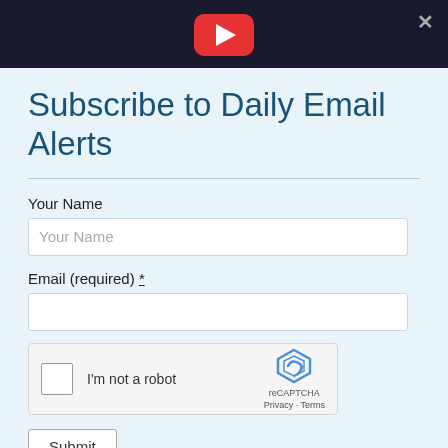[Figure (screenshot): Top dark bar with YouTube play button icon and X close button]
Subscribe to Daily Email Alerts
Your Name
Email (required) *
[Figure (other): reCAPTCHA widget with checkbox labeled I'm not a robot]
Submit
By submitting this form, you are consenting to receive marketing emails from: News With Views, P.O. Box 990, Spring Branch, TX, 78070-9998,